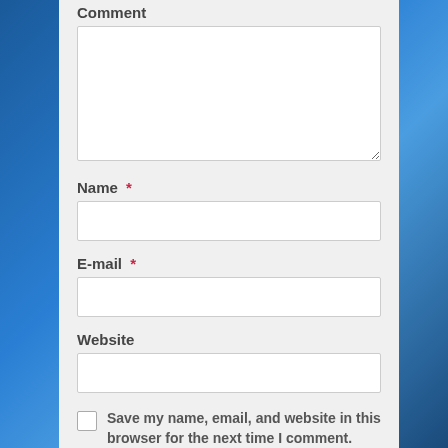Comment
[Figure (screenshot): A comment form textarea (empty white box)]
Name *
[Figure (screenshot): Name input field (empty)]
E-mail *
[Figure (screenshot): E-mail input field (empty)]
Website
[Figure (screenshot): Website input field (empty)]
Save my name, email, and website in this browser for the next time I comment.